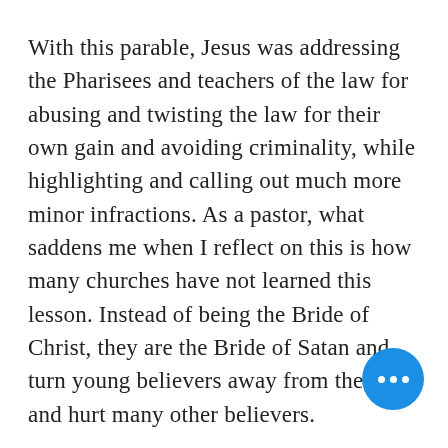With this parable, Jesus was addressing the Pharisees and teachers of the law for abusing and twisting the law for their own gain and avoiding criminality, while highlighting and calling out much more minor infractions. As a pastor, what saddens me when I reflect on this is how many churches have not learned this lesson. Instead of being the Bride of Christ, they are the Bride of Satan and turn young believers away from the faith and hurt many other believers.

I recall hearing Dr. Jeff Iorg, President of Gateway Baptist Seminary share of how his wife was given letters by a very critical church member who would write all the "wrong" things she
[Figure (other): Blue circular floating action button with three white horizontal dots (ellipsis/more options icon)]